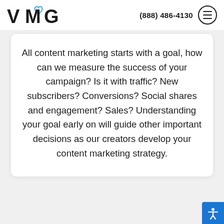VMG | (888) 486-4130
All content marketing starts with a goal, how can we measure the success of your campaign? Is it with traffic? New subscribers? Conversions? Social shares and engagement? Sales? Understanding your goal early on will guide other important decisions as our creators develop your content marketing strategy.